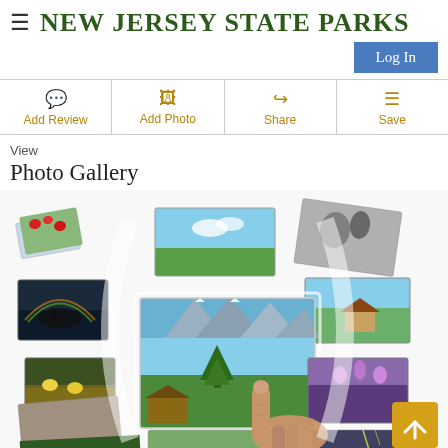NEW JERSEY STATE PARKS
Log In
Add Review
Add Photo
Share
Save
View
Photo Gallery
[Figure (photo): Photo gallery interface showing multiple nature landscape photos arranged in a 3D carousel display, with a hand pointing at a central mountain/forest scene. Various nature photos including flowers, mountains, horse riders, and scenic landscapes surround the central image.]